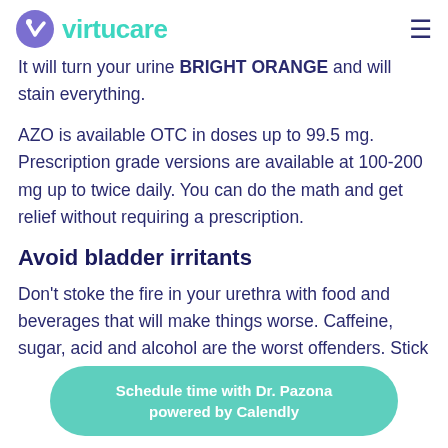virtucare
It will turn your urine BRIGHT ORANGE and will stain everything.
AZO is available OTC in doses up to 99.5 mg. Prescription grade versions are available at 100-200 mg up to twice daily. You can do the math and get relief without requiring a prescription.
Avoid bladder irritants
Don't stoke the fire in your urethra with food and beverages that will make things worse. Caffeine, sugar, acid and alcohol are the worst offenders. Stick
Schedule time with Dr. Pazona
powered by Calendly